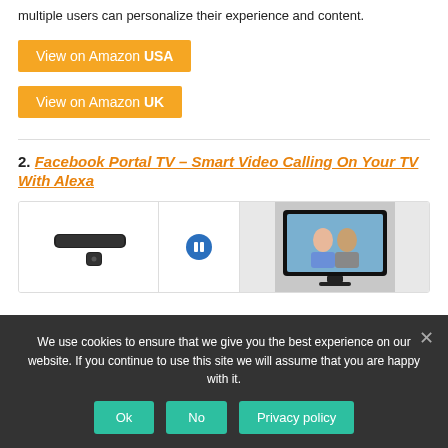multiple users can personalize their experience and content.
View on Amazon USA
View on Amazon UK
2. Facebook Portal TV – Smart Video Calling On Your TV With Alexa
[Figure (photo): Facebook Portal TV device (black stick and remote) on left, play button icon in center, couple watching TV on right]
We use cookies to ensure that we give you the best experience on our website. If you continue to use this site we will assume that you are happy with it.